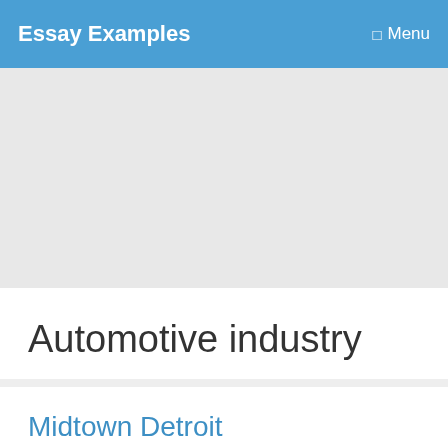Essay Examples   Menu
[Figure (other): Gray advertisement banner placeholder]
Automotive industry
Midtown Detroit